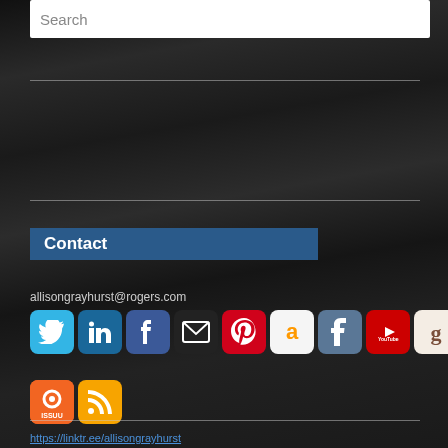Search
Contact
allisongrayhurst@rogers.com
[Figure (other): Row of social media icons: Twitter, LinkedIn, Facebook, Email, Pinterest, Amazon, Tumblr, YouTube, Goodreads, and another icon; second row: ISSUU and RSS feed icons]
https://linktr.ee/allisongrayhurst